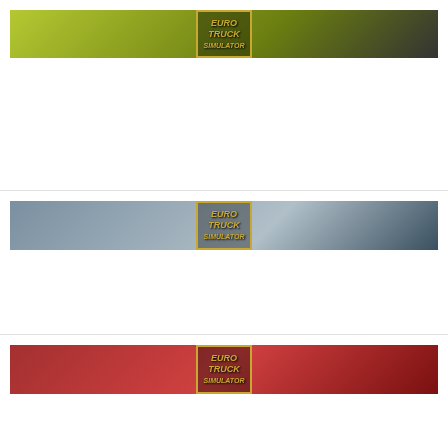ETS2 TRUCKS | Mercedes-Benz Actros MP3 by Dotec v1.3 1.45 ETS2 | 30 JUL, 2022
ETS2 TRUCKS | Volvo FH 2020 by KP TruckDesign Rework v1.2 ETS2 | 8 AUG, 2022
ETS2 TRUCKS | KAMAZ 65221 Batyr 1.45 ETS2 | 20 AUG, 2022
ETS2 TRUCKS | DAF EURO 6 KOSEOGLU EDITION V1.2 1.45 ETS2 | 2 AUG, 2022
BEST ETS2 CARS
ETS2 CARS | FORD RAPTOR MEGA MOD 1.45 ETS2